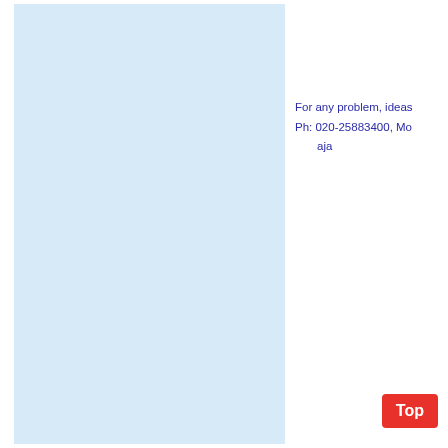[Figure (other): Light blue rectangular panel on left side of page]
For any problem, ideas
Ph: 020-25883400, Mo
aja
Top